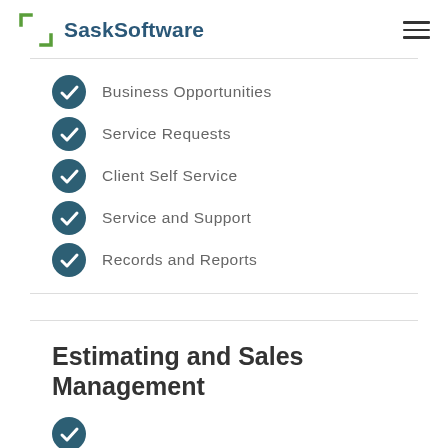SaskSoftware
Business Opportunities
Service Requests
Client Self Service
Service and Support
Records and Reports
Estimating and Sales Management